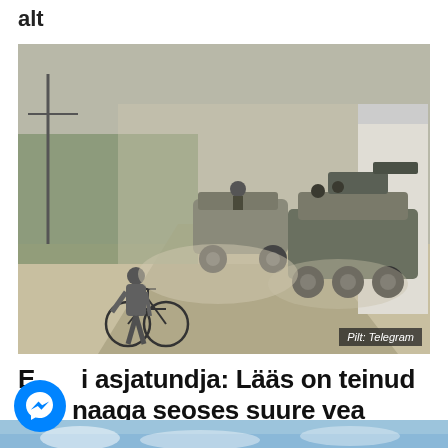alt
[Figure (photo): Military armored vehicles (BTR and MRAP type) driving down a dusty road in a conflict zone, with a civilian man walking a bicycle stepping aside. Buildings and green fields visible in background.]
Pilt: Telegram
Eesti asjatundja: Lääs on teinud Ukrainaga seoses suure vea